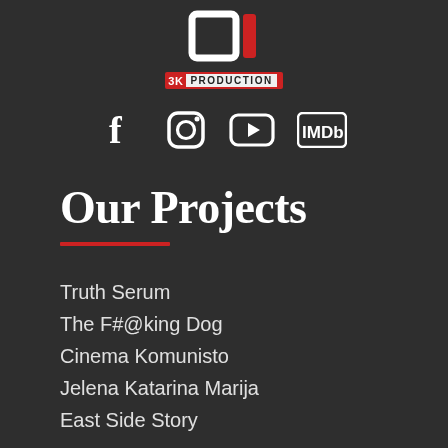[Figure (logo): 3K Production logo with stylized bracket and red bar icon, and a badge reading '3K PRODUCTION']
[Figure (infographic): Row of social media icons: Facebook, Instagram, YouTube, IMDb]
Our Projects
Truth Serum
The F#@king Dog
Cinema Komunisto
Jelena Katarina Marija
East Side Story